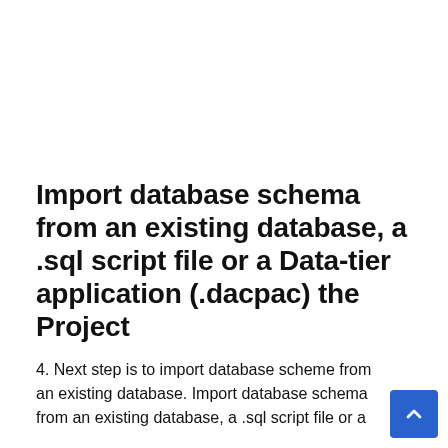Import database schema from an existing database, a .sql script file or a Data-tier application (.dacpac) the Project
4. Next step is to import database scheme from an existing database. Import database schema from an existing database, a .sql script file or a